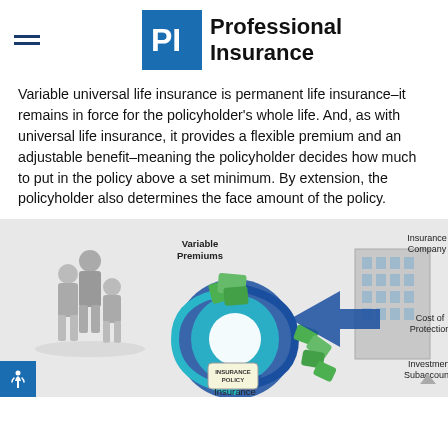Professional Insurance
Variable universal life insurance is permanent life insurance–it remains in force for the policyholder's whole life. And, as with universal life insurance, it provides a flexible premium and an adjustable benefit–meaning the policyholder decides how much to put in the policy above a set minimum. By extension, the policyholder also determines the face amount of the policy.
[Figure (infographic): Infographic showing the flow of a variable universal life insurance policy. On the left are 3D figures of people (policyholders). In the center is a circular blue arrow diagram with green money bills labeled 'Variable Premiums' at top and 'Insurance Policy' tag at the bottom. To the right is an image of a building labeled 'Insurance Company' with labels 'Cost of Protection' and 'Investment Subaccounts'. 'Insurance' label appears at the bottom center.]